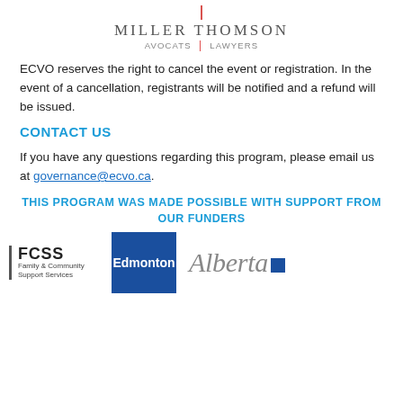[Figure (logo): Miller Thomson law firm logo — red vertical accent bar above wordmark 'MILLER THOMSON' with tagline 'AVOCATS | LAWYERS']
ECVO reserves the right to cancel the event or registration. In the event of a cancellation, registrants will be notified and a refund will be issued.
CONTACT US
If you have any questions regarding this program, please email us at governance@ecvo.ca.
THIS PROGRAM WAS MADE POSSIBLE WITH SUPPORT FROM OUR FUNDERS
[Figure (logo): Three funder logos: FCSS (Family & Community Support Services) with left border bar, City of Edmonton blue square logo, and Alberta government script wordmark with blue square]